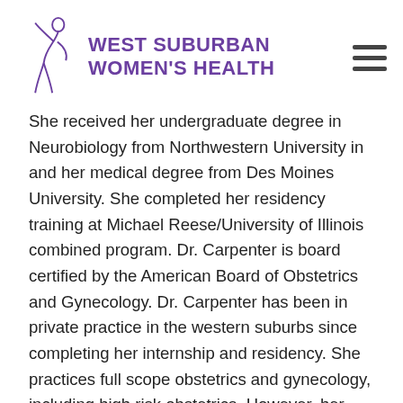WEST SUBURBAN WOMEN'S HEALTH
She received her undergraduate degree in Neurobiology from Northwestern University in and her medical degree from Des Moines University. She completed her residency training at Michael Reese/University of Illinois combined program. Dr. Carpenter is board certified by the American Board of Obstetrics and Gynecology. Dr. Carpenter has been in private practice in the western suburbs since completing her internship and residency. She practices full scope obstetrics and gynecology, including high risk obstetrics. However, her special interests include complex vulvar and vaginal dermatologic disorders. For this she has done significant additional medical education and continues to do so. Getting to know her patients on a personal level throughout the 20 + years of her practice has been the most unexpected and greatest joy of practicing medicine. She feels grateful to be in a profession where she can serve women